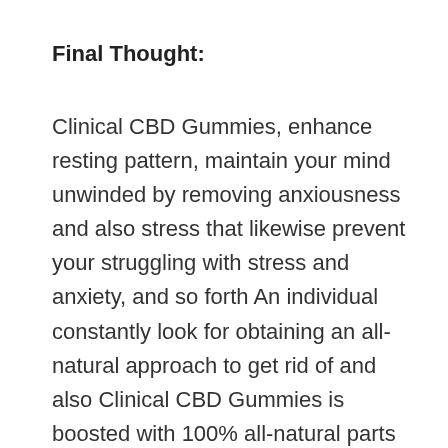Final Thought:
Clinical CBD Gummies, enhance resting pattern, maintain your mind unwinded by removing anxiousness and also stress that likewise prevent your struggling with stress and anxiety, and so forth An individual constantly look for obtaining an all-natural approach to get rid of and also Clinical CBD Gummies is boosted with 100% all-natural parts to keep your body healthy and also you pleased. This life is a blessing as well as live it to the max with this extraordinary thing.